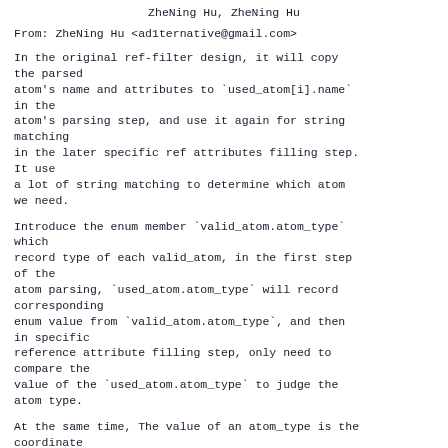ZheNing Hu, ZheNing Hu
From: ZheNing Hu <ad1ternative@gmail.com>
In the original ref-filter design, it will copy the parsed atom's name and attributes to `used_atom[i].name` in the atom's parsing step, and use it again for string matching in the later specific ref attributes filling step. It use a lot of string matching to determine which atom we need.
Introduce the enum member `valid_atom.atom_type` which record type of each valid_atom, in the first step of the atom parsing, `used_atom.atom_type` will record corresponding enum value from `valid_atom.atom_type`, and then in specific reference attribute filling step, only need to compare the value of the `used_atom.atom_type` to judge the atom type.
At the same time, The value of an atom_type is the coordinate of its corresponding valid_atom element.